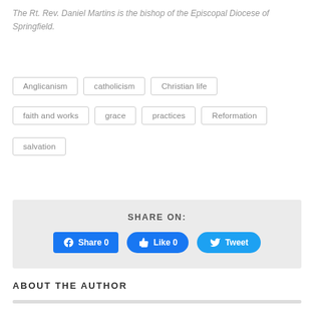The Rt. Rev. Daniel Martins is the bishop of the Episcopal Diocese of Springfield.
Anglicanism
catholicism
Christian life
faith and works
grace
practices
Reformation
salvation
SHARE ON:
ABOUT THE AUTHOR